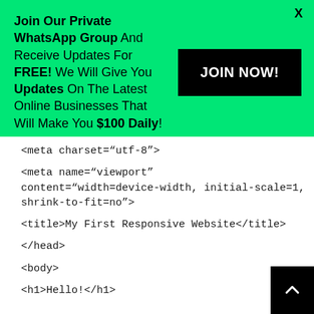Join Our Private WhatsApp Group And Receive Updates For FREE! We Will Give You Updates On The Latest Online Businesses That Will Make You $100 Daily!
JOIN NOW!
X
<meta charset="utf-8">
<meta name="viewport" content="width=device-width, initial-scale=1, shrink-to-fit=no">
<title>My First Responsive Website</title>
</head>
<body>
<h1>Hello!</h1>